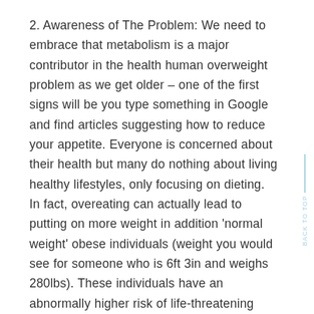2. Awareness of The Problem: We need to embrace that metabolism is a major contributor in the health human overweight problem as we get older – one of the first signs will be you type something in Google and find articles suggesting how to reduce your appetite. Everyone is concerned about their health but many do nothing about living healthy lifestyles, only focusing on dieting. In fact, overeating can actually lead to putting on more weight in addition 'normal weight' obese individuals (weight you would see for someone who is 6ft 3in and weighs 280lbs). These individuals have an abnormally higher risk of life-threatening illnesses, such as Type 2